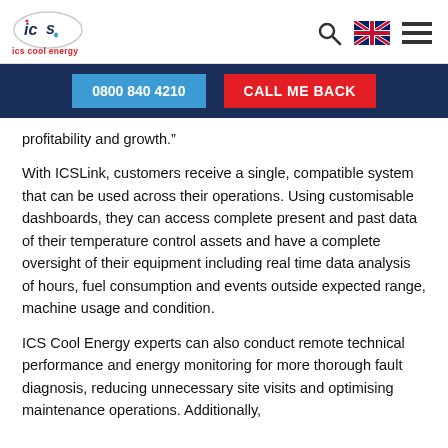ics cool energy
0800 840 4210
CALL ME BACK
profitability and growth.”
With ICSLink, customers receive a single, compatible system that can be used across their operations. Using customisable dashboards, they can access complete present and past data of their temperature control assets and have a complete oversight of their equipment including real time data analysis of hours, fuel consumption and events outside expected range, machine usage and condition.
ICS Cool Energy experts can also conduct remote technical performance and energy monitoring for more thorough fault diagnosis, reducing unnecessary site visits and optimising maintenance operations. Additionally,